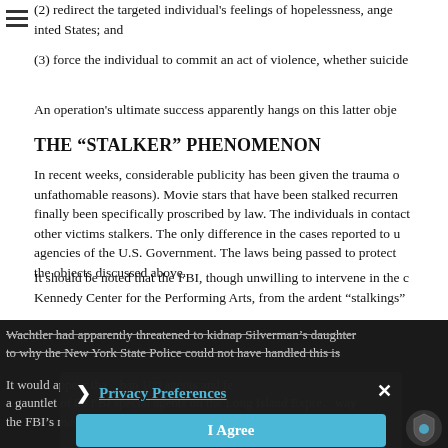(2) redirect the targeted individual's feelings of hopelessness, anger, ... United States; and
(3) force the individual to commit an act of violence, whether suicide...
An operation's ultimate success apparently hangs on this latter obje...
THE “STALKER” PHENOMENON
In recent weeks, considerable publicity has been given the trauma o... unfathomable reasons). Movie stars that have been stalked recurren... finally been specifically proscribed by law. The individuals in contact... other victims stalkers. The only difference in the cases reported to u... agencies of the U.S. Government. The laws being passed to protect... the objects discussed above.
It should be noted that the FBI, though unwilling to intervene in the c... Kennedy Center for the Performing Arts, from the ardent “stalkings”...
Wachtler had apparently threatened to kidnap Silverman’s daughter... to why the New York State Police could not have handled this is...
It would appear tha... than 100 agents and fe... a gauntlet of 80 FBI special agents on the Long Island Expre...way... the FBI’s massive respon...mpted by what was p...
[Figure (other): Privacy Preferences cookie consent overlay with 'I Agree' button and close button, displayed over dark background area]